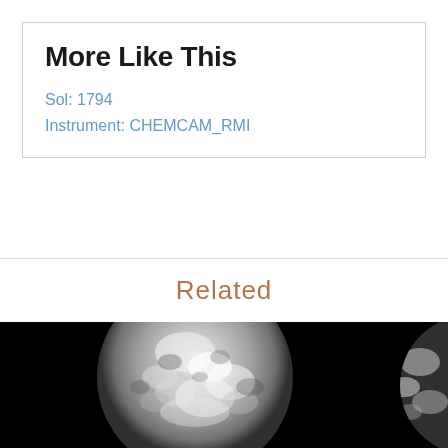More Like This
Sol: 1794
Instrument: CHEMCAM_RMI
Related
[Figure (photo): Grayscale CHEMCAM_RMI image showing a circular bright rock or surface target with white patchy texture against a black background]
[Figure (photo): Partial grayscale CHEMCAM_RMI image, partially cropped, showing bright curved surface against black background]